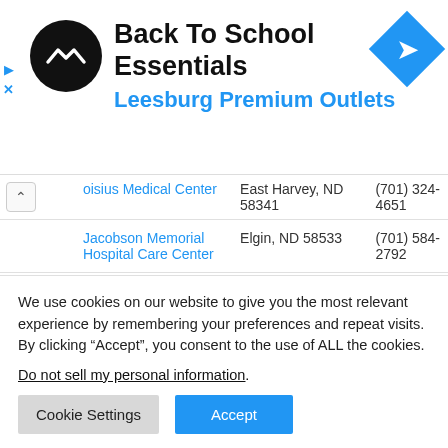[Figure (illustration): Ad banner: Back To School Essentials at Leesburg Premium Outlets with circular black logo and blue navigation diamond icon]
| Name | Location | Phone |
| --- | --- | --- |
| Aloisius Medical Center | East Harvey, ND 58341 | (701) 324-4651 |
| Jacobson Memorial Hospital Care Center | Elgin, ND 58533 | (701) 584-2792 |
| Maryhill Manor | Enderlin, ND 58027 | (701) 437-3544 |
| Fargo Public Schools | Fargo, ND 58102 | (701) 446- |
We use cookies on our website to give you the most relevant experience by remembering your preferences and repeat visits. By clicking “Accept”, you consent to the use of ALL the cookies.
Do not sell my personal information.